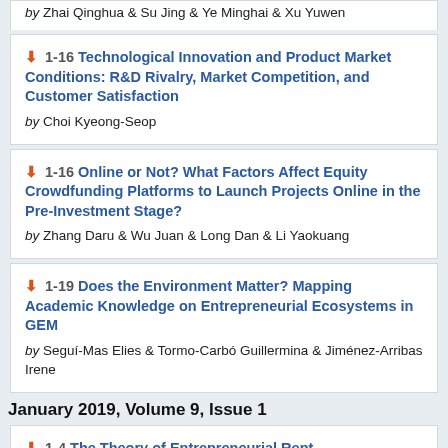by Zhai Qinghua & Su Jing & Ye Minghai & Xu Yuwen
1-16 Technological Innovation and Product Market Conditions: R&D Rivalry, Market Competition, and Customer Satisfaction by Choi Kyeong-Seop
1-16 Online or Not? What Factors Affect Equity Crowdfunding Platforms to Launch Projects Online in the Pre-Investment Stage? by Zhang Daru & Wu Juan & Long Dan & Li Yaokuang
1-19 Does the Environment Matter? Mapping Academic Knowledge on Entrepreneurial Ecosystems in GEM by Seguí-Mas Elies & Tormo-Carbó Guillermina & Jiménez-Arribas Irene
January 2019, Volume 9, Issue 1
1-4 The Theory of Entrepreneurial Rent